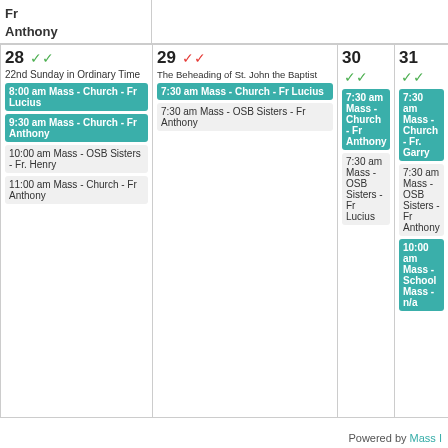Fr Anthony
| 28 | 29 | 30 | 31 |  |  |  |
| --- | --- | --- | --- | --- | --- | --- |
| 22nd Sunday in Ordinary Time
8:00 am Mass - Church - Fr Lucius
9:30 am Mass - Church - Fr Anthony
10:00 am Mass - OSB Sisters - Fr. Henry
11:00 am Mass - Church - Fr Anthony | The Beheading of St. John the Baptist
7:30 am Mass - Church - Fr Lucius
7:30 am Mass - OSB Sisters - Fr Anthony | 7:30 am Mass - Church - Fr Anthony
7:30 am Mass - OSB Sisters - Fr Lucius | 7:30 am Mass - Church - Fr. Garry
7:30 am Mass - OSB Sisters - Fr Anthony
10:00 am Mass - School Mass - n/a |  |  |  |
Powered by Mass I